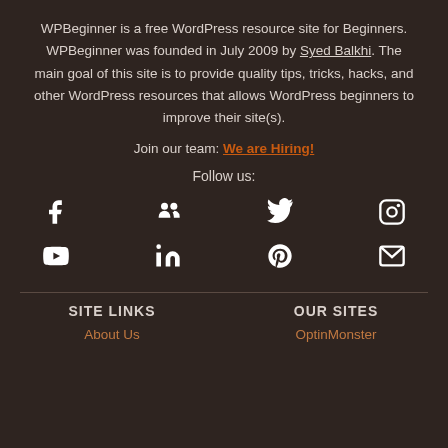WPBeginner is a free WordPress resource site for Beginners. WPBeginner was founded in July 2009 by Syed Balkhi. The main goal of this site is to provide quality tips, tricks, hacks, and other WordPress resources that allows WordPress beginners to improve their site(s).
Join our team: We are Hiring!
Follow us:
[Figure (infographic): Social media icons row 1: Facebook, Groups/Community, Twitter, Instagram]
[Figure (infographic): Social media icons row 2: YouTube, LinkedIn, Pinterest, Email]
SITE LINKS
OUR SITES
About Us
OptinMonster